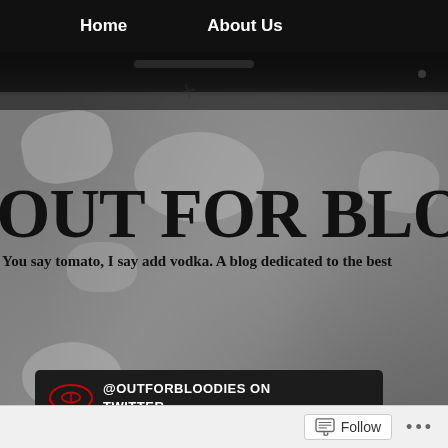Home    About Us
OUT FOR BLOODIE…
You say tomato, I say add vodka. A blog dedicated to the best…
[Figure (screenshot): Black background Twitter link box with @OUTFORBLOODIES ON TWITTER text and a red oval logo icon]
ARCHIVE…
Blood…
Posted: Nove…
Follow   ...